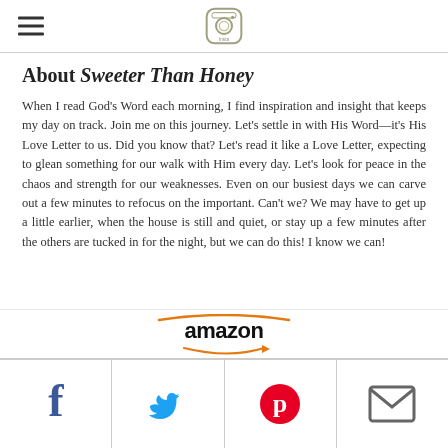Insta logo and hamburger menu
About Sweeter Than Honey
When I read God's Word each morning, I find inspiration and insight that keeps my day on track. Join me on this journey. Let's settle in with His Word—it's His Love Letter to us. Did you know that? Let's read it like a Love Letter, expecting to glean something for our walk with Him every day. Let's look for peace in the chaos and strength for our weaknesses. Even on our busiest days we can carve out a few minutes to refocus on the important. Can't we? We may have to get up a little earlier, when the house is still and quiet, or stay up a few minutes after the others are tucked in for the night, but we can do this! I know we can!
[Figure (logo): Amazon logo with orange arc above and arrow below the text]
Social share icons: Facebook, Twitter, Pinterest, Email